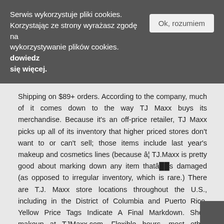Serwis wykorzystuje pliki cookies. Korzystając ze strony wyrażasz zgodę na wykorzystywanie plików cookies. dowiedz się więcej.
Shipping on $89+ orders. According to the company, much of it comes down to the way TJ Maxx buys its merchandise. Because it's an off-price retailer, TJ Maxx picks up all of its inventory that higher priced stores don't want to or can't sell; those items include last year's makeup and cosmetics lines (because â¦ TJ.Maxx is pretty good about marking down any item thatâ��s damaged (as opposed to irregular inventory, which is rare.) There are T.J. Maxx store locations throughout the U.S., including in the District of Columbia and Puerto Rico. Yellow Price Tags Indicate A Final Markdown. Shop makeup at TJMaxx.com. Flexible hours, most other employees are easy to get along with T.J. Maxx is an off-price retailer. Shop new arrivals at TJMaxx.com. Amazing savings on brand-name